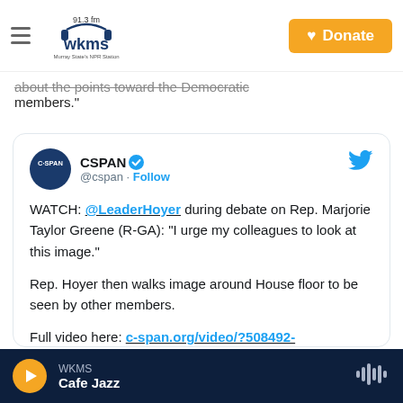WKMS 91.3 FM — Murray State's NPR Station
...about the points toward the Democratic members."
[Figure (screenshot): Embedded tweet from CSPAN (@cspan) with verified badge. Tweet text: WATCH: @LeaderHoyer during debate on Rep. Marjorie Taylor Greene (R-GA): "I urge my colleagues to look at this image." Rep. Hoyer then walks image around House floor to be seen by other members. Full video here: c-span.org/video/?508492-...]
WKMS — Cafe Jazz